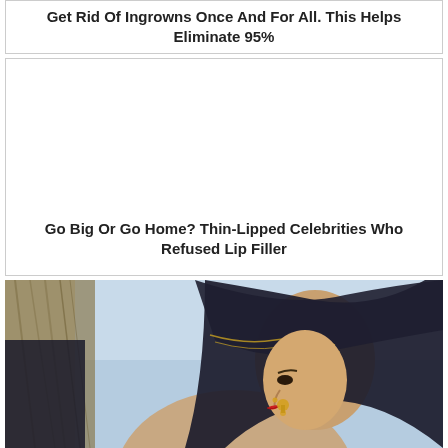Get Rid Of Ingrowns Once And For All. This Helps Eliminate 95%
[Figure (other): Blank white advertisement card area]
Go Big Or Go Home? Thin-Lipped Celebrities Who Refused Lip Filler
[Figure (photo): Woman in profile view wearing a dark black embroidered veil/dupatta with jewellery, outdoors against a light blue sky background with straw/hay visible to the left]